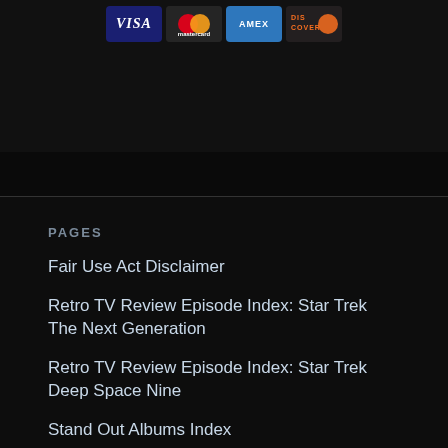[Figure (other): Payment card icons: VISA, Mastercard, AMEX, DISCOVER on dark background]
PAGES
Fair Use Act Disclaimer
Retro TV Review Episode Index: Star Trek The Next Generation
Retro TV Review Episode Index: Star Trek Deep Space Nine
Stand Out Albums Index
The Bond Reviews (1962-2015)
About
Contact